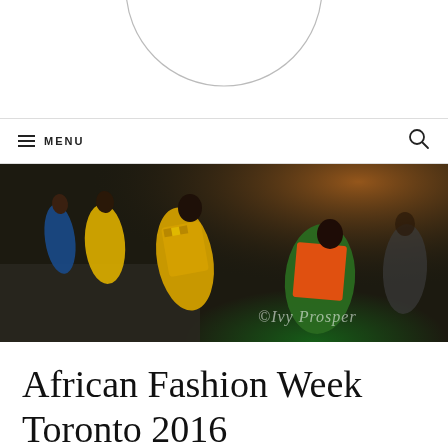[Figure (logo): Partial circular logo outline at top of page, bottom arc visible]
≡ MENU   🔍
[Figure (photo): Fashion show photo from African Fashion Week Toronto 2016, showing models wearing colorful African print outfits on a runway. Watermark reads ©Ivy Prosper]
African Fashion Week Toronto 2016